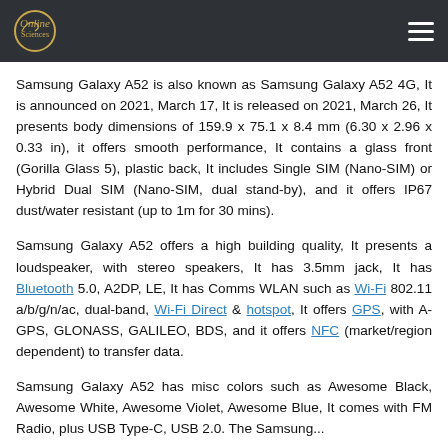Online Sciences logo and navigation
Samsung Galaxy A52 is also known as Samsung Galaxy A52 4G, It is announced on 2021, March 17, It is released on 2021, March 26, It presents body dimensions of 159.9 x 75.1 x 8.4 mm (6.30 x 2.96 x 0.33 in), it offers smooth performance, It contains a glass front (Gorilla Glass 5), plastic back, It includes Single SIM (Nano-SIM) or Hybrid Dual SIM (Nano-SIM, dual stand-by), and it offers IP67 dust/water resistant (up to 1m for 30 mins).
Samsung Galaxy A52 offers a high building quality, It presents a loudspeaker, with stereo speakers, It has 3.5mm jack, It has Bluetooth 5.0, A2DP, LE, It has Comms WLAN such as Wi-Fi 802.11 a/b/g/n/ac, dual-band, Wi-Fi Direct & hotspot, It offers GPS, with A-GPS, GLONASS, GALILEO, BDS, and it offers NFC (market/region dependent) to transfer data.
Samsung Galaxy A52 has misc colors such as Awesome Black, Awesome White, Awesome Violet, Awesome Blue, It comes with FM Radio, plus USB Type-C, USB 2.0. The Samsung...